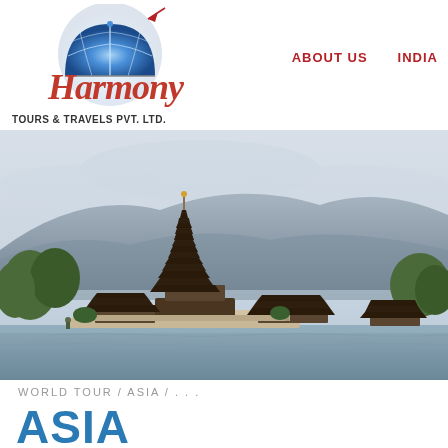[Figure (logo): Harmony Tours & Travels Pvt. Ltd. logo with dome/globe icon and stylized red cursive text]
ABOUT US    INDIA
[Figure (photo): Balinese Hindu temple (Pura Ulun Danu Beratan) with multi-tiered pagoda towers reflected in a lake, misty mountains in background]
WORLD TOUR / ASIA / . . .
ASIA